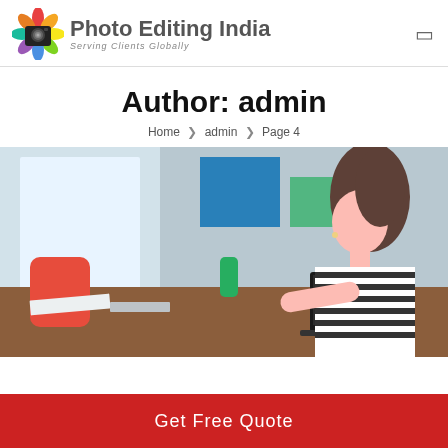[Figure (logo): Photo Editing India logo with colorful flower/lens icon and text 'Photo Editing India - Serving Clients Globally']
Author: admin
Home › admin › Page 4
[Figure (photo): Woman in striped shirt working at a desk with laptop in a colorful creative studio environment]
Get Free Quote